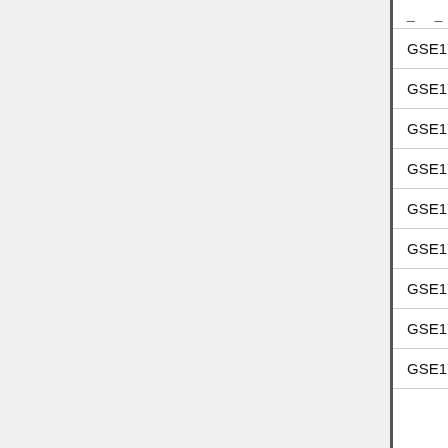| Gene Set Name (truncated) |
| --- |
| GSE17721_CPG_VS_GARDIQUIMOD_1H_BMD... |
| GSE17721_CPG_VS_GARDIQUIMOD_24H_BM... |
| GSE17721_CPG_VS_GARDIQUIMOD_24H_BM... |
| GSE17721_CPG_VS_GARDIQUIMOD_2H_BMD... |
| GSE17721_CPG_VS_GARDIQUIMOD_2H_BMD... |
| GSE17721_CPG_VS_GARDIQUIMOD_4H_BMD... |
| GSE17721_CPG_VS_GARDIQUIMOD_4H_BMD... |
| GSE17721_CPG_VS_GARDIQUIMOD_6H_BMD... |
| GSE17721_CPG_VS_GARDIQUIMOD_6H_BMD... |